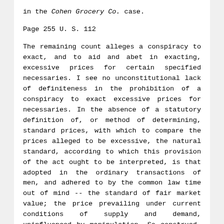in the Cohen Grocery Co. case.
Page 255 U. S. 112
The remaining count alleges a conspiracy to exact, and to aid and abet in exacting, excessive prices for certain specified necessaries. I see no unconstitutional lack of definiteness in the prohibition of a conspiracy to exact excessive prices for necessaries. In the absence of a statutory definition of, or method of determining, standard prices, with which to compare the prices alleged to be excessive, the natural standard, according to which this provision of the act ought to be interpreted, is that adopted in the ordinary transactions of men, and adhered to by the common law time out of mind -- the standard of fair market value; the price prevailing under current conditions of supply and demand, uninfluenced by manipulation. So construed, I regard this provision as clearly constitutional, and need only refer to Nash v.